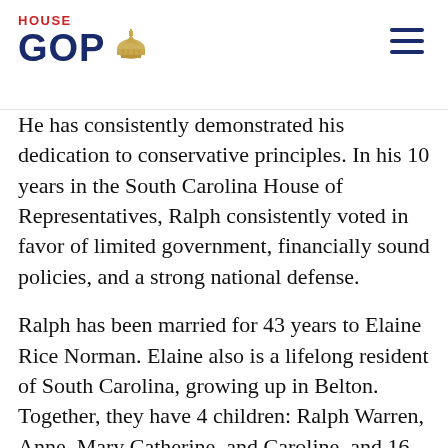HOUSE GOP
He has consistently demonstrated his dedication to conservative principles. In his 10 years in the South Carolina House of Representatives, Ralph consistently voted in favor of limited government, financially sound policies, and a strong national defense.
Ralph has been married for 43 years to Elaine Rice Norman. Elaine also is a lifelong resident of South Carolina, growing up in Belton. Together, they have 4 children: Ralph Warren, Anne, Mary Catherine, and Caroline, and 16 grandchildren.